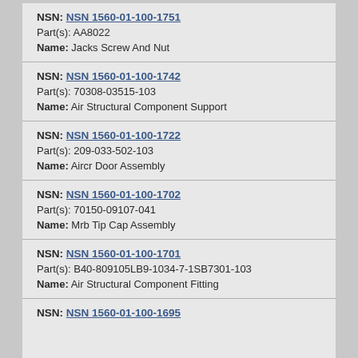NSN: NSN 1560-01-100-1751
Part(s): AA8022
Name: Jacks Screw And Nut
NSN: NSN 1560-01-100-1742
Part(s): 70308-03515-103
Name: Air Structural Component Support
NSN: NSN 1560-01-100-1722
Part(s): 209-033-502-103
Name: Aircr Door Assembly
NSN: NSN 1560-01-100-1702
Part(s): 70150-09107-041
Name: Mrb Tip Cap Assembly
NSN: NSN 1560-01-100-1701
Part(s): B40-809105LB9-1034-7-1SB7301-103
Name: Air Structural Component Fitting
NSN: NSN 1560-01-100-1695